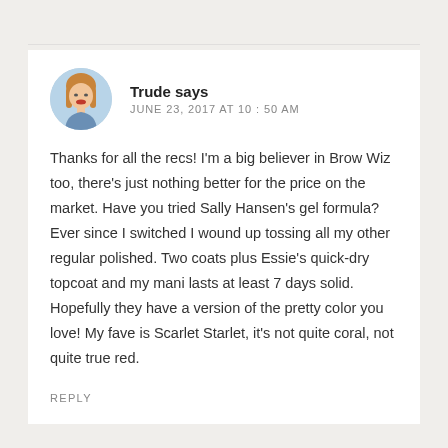Trude says
JUNE 23, 2017 AT 10:50 AM
Thanks for all the recs! I'm a big believer in Brow Wiz too, there's just nothing better for the price on the market. Have you tried Sally Hansen's gel formula? Ever since I switched I wound up tossing all my other regular polished. Two coats plus Essie's quick-dry topcoat and my mani lasts at least 7 days solid. Hopefully they have a version of the pretty color you love! My fave is Scarlet Starlet, it's not quite coral, not quite true red.
REPLY